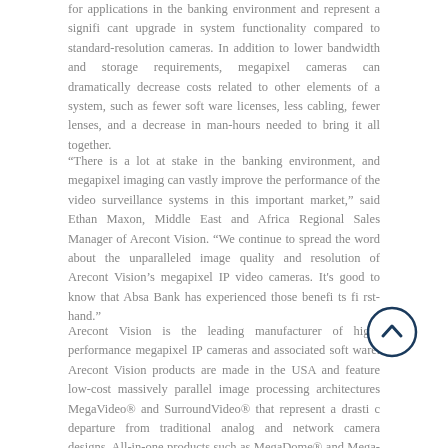for applications in the banking environment and represent a significant upgrade in system functionality compared to standard-resolution cameras. In addition to lower bandwidth and storage requirements, megapixel cameras can dramatically decrease costs related to other elements of a system, such as fewer software licenses, less cabling, fewer lenses, and a decrease in man-hours needed to bring it all together.
“There is a lot at stake in the banking environment, and megapixel imaging can vastly improve the performance of the video surveillance systems in this important market,” said Ethan Maxon, Middle East and Africa Regional Sales Manager of Arecont Vision. “We continue to spread the word about the unparalleled image quality and resolution of Arecont Vision’s megapixel IP video cameras. It’s good to know that Absa Bank has experienced those benefits first-hand.”
Arecont Vision is the leading manufacturer of high-performance megapixel IP cameras and associated software. Arecont Vision products are made in the USA and feature low-cost massively parallel image processing architectures MegaVideo® and SurroundVideo® that represent a drastic departure from traditional analog and network camera designs. All-in-one products such as MegaDome® and MegaView™ provide installer friendly solutions. Compact JPEG and H.264 series of cameras address cost sensitive applications. These innovative technologies enable Arecont Vision to deliver muti-
[Figure (illustration): Circular scroll-to-top button with upward chevron arrow, dark blue outline on white background]